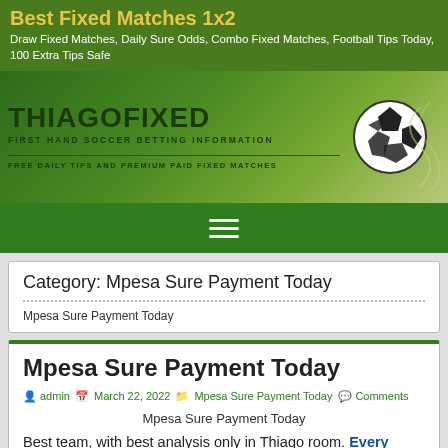Best Fixed Matches 1x2
Draw Fixed Matches, Daily Sure Odds, Combo Fixed Matches, Football Tips Today, 100 Extra Tips Safe
[Figure (illustration): ThiagoFixed website banner with soccer ball and decorative green wave design. Text: THIAGOFIXED, FIRST HAND SOCCER BETTING INFORMATION, FREE DAILY TIPS AND PREMIUM PAID FIXED MATCHES]
Category: Mpesa Sure Payment Today
Mpesa Sure Payment Today
Mpesa Sure Payment Today
admin  March 22, 2022  Mpesa Sure Payment Today  Comments
Mpesa Sure Payment Today
Best team, with best analysis only in Thiago room. Every